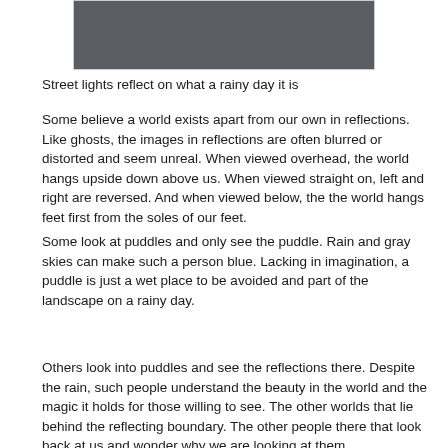[Figure (photo): Dark gray/rainy sky photograph, partially cropped at top of page]
Street lights reflect on what a rainy day it is
Some believe a world exists apart from our own in reflections. Like ghosts, the images in reflections are often blurred or distorted and seem unreal. When viewed overhead, the world hangs upside down above us. When viewed straight on, left and right are reversed. And when viewed below, the the world hangs feet first from the soles of our feet.
Some look at puddles and only see the puddle. Rain and gray skies can make such a person blue. Lacking in imagination, a puddle is just a wet place to be avoided and part of the landscape on a rainy day.
Others look into puddles and see the reflections there. Despite the rain, such people understand the beauty in the world and the magic it holds for those willing to see. The other worlds that lie behind the reflecting boundary. The other people there that look back at us and wonder why we are looking at them